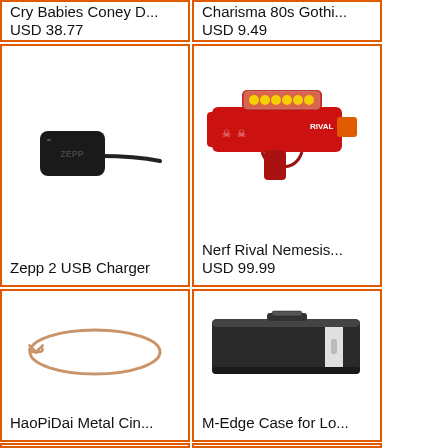Cry Babies Coney D...
USD 38.77
Charisma 80s Gothi...
USD 9.49
[Figure (photo): Zepp 2 USB Charger - small black rectangular charging puck with cable]
Zepp 2 USB Charger
[Figure (photo): Nerf Rival Nemesis red blaster toy gun with yellow balls]
Nerf Rival Nemesis...
USD 99.99
[Figure (photo): HaoPiDai Metal Cinn... - rose gold metal thin bracelet with bow accent]
HaoPiDai Metal Cin...
[Figure (photo): M-Edge Case for Lo... - black and white rectangular case/sleeve]
M-Edge Case for Lo...